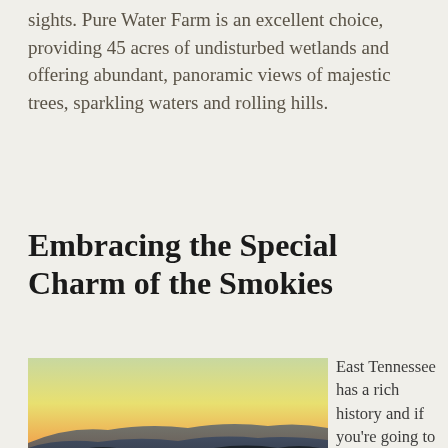sights. Pure Water Farm is an excellent choice, providing 45 acres of undisturbed wetlands and offering abundant, panoramic views of majestic trees, sparkling waters and rolling hills.
Embracing the Special Charm of the Smokies
[Figure (photo): Scenic mountain sunset over the Smoky Mountains showing layered blue ridgelines against an orange and yellow sky]
East Tennessee has a rich history and if you're going to get married in